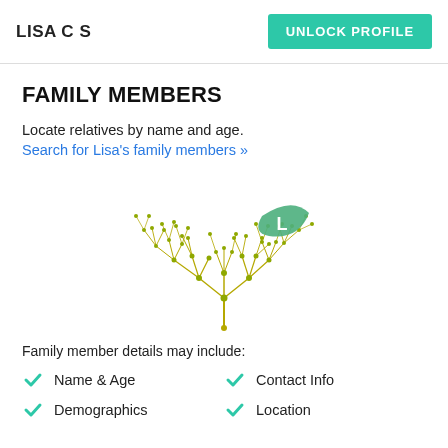LISA C S
FAMILY MEMBERS
Locate relatives by name and age.
Search for Lisa's family members »
[Figure (illustration): A decorative family tree illustration made of connected dots and lines in olive/yellow-green color, with a green leaf shape containing the letter L in the upper right area of the tree.]
Family member details may include:
Name & Age
Contact Info
Demographics
Location